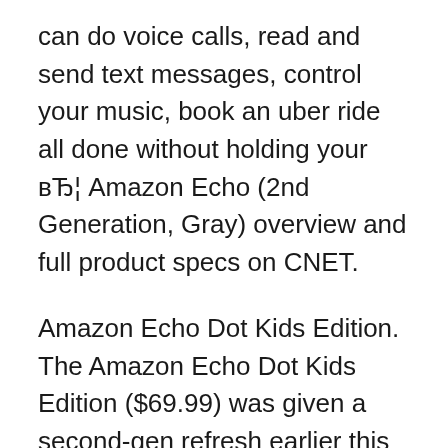can do voice calls, read and send text messages, control your music, book an uber ride all done without holding your вЂ¦ Amazon Echo (2nd Generation, Gray) overview and full product specs on CNET.
Amazon Echo Dot Kids Edition. The Amazon Echo Dot Kids Edition ($69.99) was given a second-gen refresh earlier this year, matching the third-gen standard Dot but with a fancy rainbow design. However, the $20 premium gets you more than a jazzy look. Echo Dot can hear you from across the room, even in noisy environments, or while playing music as it has four microphones that use beam-forming technology and enhanced noise cancellation.